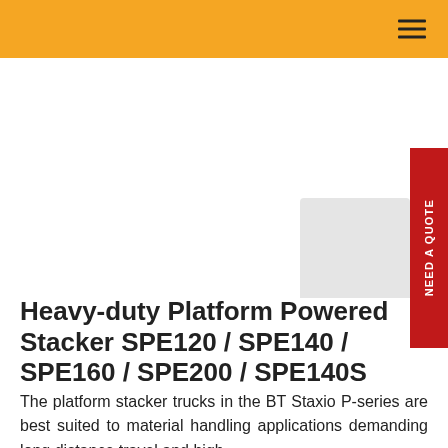[Figure (photo): Product image area for heavy-duty platform powered stacker, white background with partial grey shape visible at lower right, orange navigation header bar at top with hamburger menu icon, red vertical 'NEED A QUOTE' tab on right side]
Heavy-duty Platform Powered Stacker SPE120 / SPE140 / SPE160 / SPE200 / SPE140S
The platform stacker trucks in the BT Staxio P-series are best suited to material handling applications demanding long distance travel and high